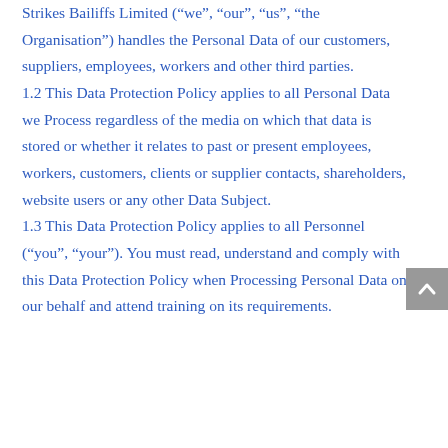Strikes Bailiffs Limited (“we”, “our”, “us”, “the Organisation”) handles the Personal Data of our customers, suppliers, employees, workers and other third parties.
1.2 This Data Protection Policy applies to all Personal Data we Process regardless of the media on which that data is stored or whether it relates to past or present employees, workers, customers, clients or supplier contacts, shareholders, website users or any other Data Subject.
1.3 This Data Protection Policy applies to all Personnel (“you”, “your”). You must read, understand and comply with this Data Protection Policy when Processing Personal Data on our behalf and attend training on its requirements.